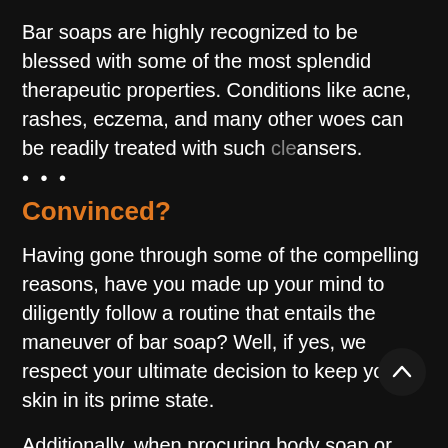Bar soaps are highly recognized to be blessed with some of the most splendid therapeutic properties. Conditions like acne, rashes, eczema, and many other woes can be readily treated with such cleansers.
•••
Convinced?
Having gone through some of the compelling reasons, have you made up your mind to diligently follow a routine that entails the maneuver of bar soap? Well, if yes, we respect your ultimate decision to keep your skin in its prime state.
Additionally, when procuring body soap or any other product, be mindful of these mentioned tips!
1. Chemical or pesticide free. When snapping up